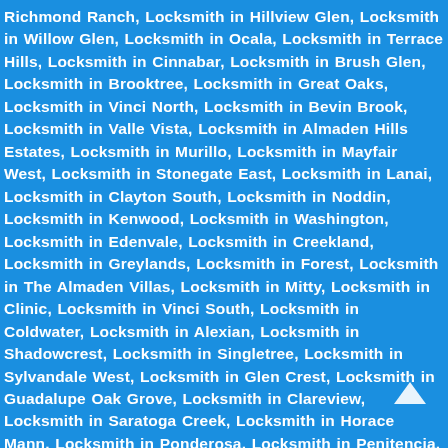Richmond Ranch, Locksmith in Hillview Glen, Locksmith in Willow Glen, Locksmith in Ocala, Locksmith in Terrace Hills, Locksmith in Cinnabar, Locksmith in Brush Glen, Locksmith in Brooktree, Locksmith in Great Oaks, Locksmith in Vinci North, Locksmith in Bevin Brook, Locksmith in Valle Vista, Locksmith in Almaden Hills Estates, Locksmith in Murillo, Locksmith in Mayfair West, Locksmith in Stonegate East, Locksmith in Lanai, Locksmith in Clayton South, Locksmith in Noddin, Locksmith in Kenwood, Locksmith in Washington, Locksmith in Edenvale, Locksmith in Creekland, Locksmith in Greylands, Locksmith in Forest, Locksmith in The Almaden Villas, Locksmith in Mitty, Locksmith in Clinic, Locksmith in Vinci South, Locksmith in Coldwater, Locksmith in Alexian, Locksmith in Shadowcrest, Locksmith in Singletree, Locksmith in Sylvandale West, Locksmith in Glen Crest, Locksmith in Guadalupe Oak Grove, Locksmith in Clareview, Locksmith in Saratoga Creek, Locksmith in Horace Mann, Locksmith in Ponderosa, Locksmith in Penitencia, Locksmith in Millich, Locksmith in Blossom River, Locksmith in The Alta Vista, Locksmith in Chantilley, Locksmith in Rancho Santa Teresa, Locksmith in Granite Creek, Locksmith in Flickinger South, Locksmith in Alma, Locksmith in Hathaway, Locksmith in Meadow Fair, Locksmith in Cadillac East, Locksmith in Oak Grove, Locksmith in Townsend, Locksmith in Lynhaven, Locksmith in San Ramon, Locksmith in Orchard Creek, Locksmith in Old...